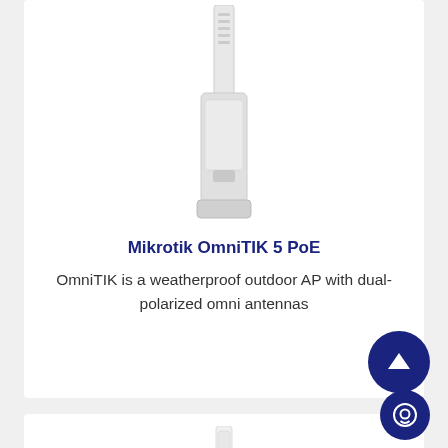[Figure (photo): Mikrotik OmniTIK 5 PoE outdoor access point device, white vertical tower-style housing with antenna elements at top, shown against white background]
Mikrotik OmniTIK 5 PoE
OmniTIK is a weatherproof outdoor AP with dual-polarized omni antennas
[Figure (photo): Second product device, white slim vertical panel/antenna unit, partially visible at bottom of page]